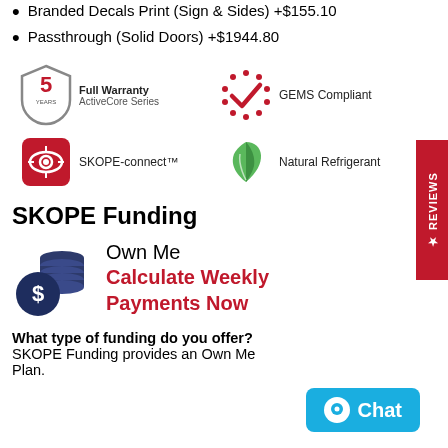Branded Decals Print (Sign & Sides) +$155.10
Passthrough (Solid Doors) +$1944.80
[Figure (logo): 5 Year Full Warranty ActiveCore Series shield logo]
[Figure (logo): GEMS Compliant red star/checkmark badge]
[Figure (logo): SKOPE-connect red icon with text SKOPE-connect™]
[Figure (logo): Natural Refrigerant green leaf logo]
SKOPE Funding
[Figure (logo): Own Me dark blue coin stack with dollar sign icon]
Own Me
Calculate Weekly Payments Now
What type of funding do you offer? SKOPE Funding provides an Own Me Plan.
[Figure (logo): Chat button - blue rounded rectangle with chat bubble and text Chat]